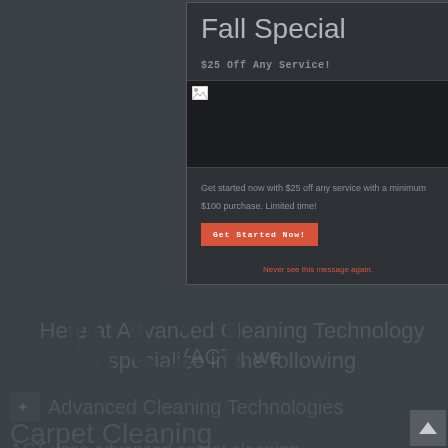Fall Special
$25 Off Any Service!
[Figure (photo): Broken image placeholder in dark modal box]
Get started now with $25 off any service with a minimum $100 purchase. Limited time!
Get Started Now!
Never see this message again.
Here at Advanced Cleaning Technology (ACT), we specialize in the following
Advanced Cleaning Technologies
Carpet Cleaning
ACT uses advanced carpet cleaning